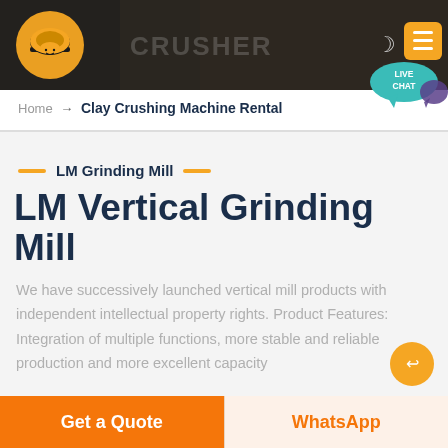[Figure (screenshot): Website header banner showing mining/crushing machinery in dark background with orange logo, dark mode icon, and yellow menu button]
Home → Clay Crushing Machine Rental
LM Grinding Mill
LM Vertical Grinding Mill
We have successively launched vertical mill products with independent intellectual property rights. Product Features: Integration of multiple functions, more stable and reliable production and more excellent capacity
Get a Quote
WhatsApp